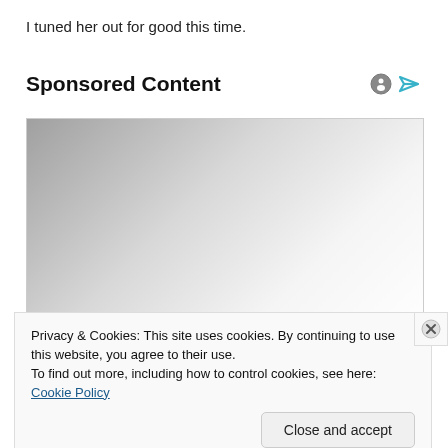I tuned her out for good this time.
Sponsored Content
[Figure (other): Sponsored content advertisement placeholder area with grey gradient background]
Privacy & Cookies: This site uses cookies. By continuing to use this website, you agree to their use.
To find out more, including how to control cookies, see here: Cookie Policy
Close and accept